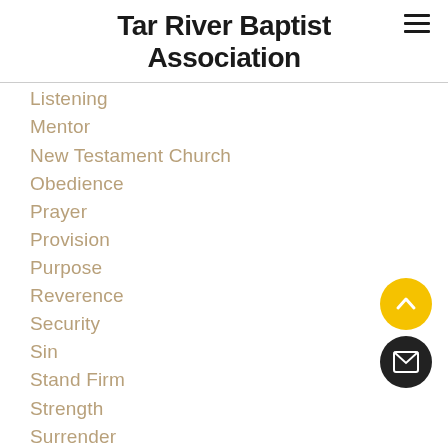Tar River Baptist Association
Listening
Mentor
New Testament Church
Obedience
Prayer
Provision
Purpose
Reverence
Security
Sin
Stand Firm
Strength
Surrender
Temptation
Trust